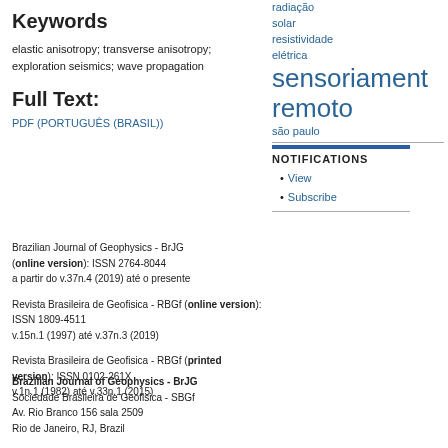Keywords
elastic anisotropy; transverse anisotropy; exploration seismics; wave propagation
Full Text:
PDF (PORTUGUÊS (BRASIL))
radiação solar
resistividade elétrica
sensoriamento remoto
são paulo
NOTIFICATIONS
View
Subscribe
Brazilian Journal of Geophysics - BrJG (online version): ISSN 2764-8044
a partir do v.37n.4 (2019) até o presente
Revista Brasileira de Geofisica - RBGf (online version): ISSN 1809-4511
v.15n.1 (1997) até v.37n.3 (2019)
Revista Brasileira de Geofisica - RBGf (printed version): ISSN 0102-261X
v.1n.1 (1982) até v.33n.1 (2015)
Brazilian Journal of Geophysics - BrJG
Sociedade Brasileira de Geofisica - SBGf
Av. Rio Branco 156 sala 2509
Rio de Janeiro, RJ, Brazil